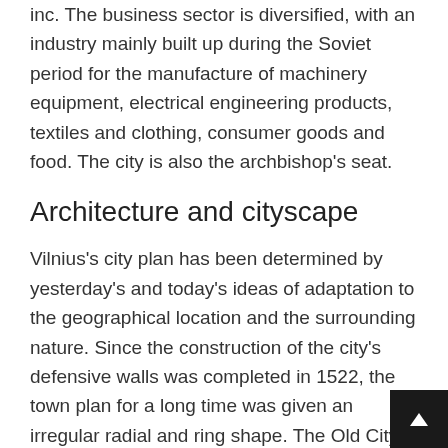inc. The business sector is diversified, with an industry mainly built up during the Soviet period for the manufacture of machinery equipment, electrical engineering products, textiles and clothing, consumer goods and food. The city is also the archbishop's seat.
Architecture and cityscape
Vilnius's city plan has been determined by yesterday's and today's ideas of adaptation to the geographical location and the surrounding nature. Since the construction of the city's defensive walls was completed in 1522, the town plan for a long time was given an irregular radial and ring shape. The Old City, UNESCO classified as a World Heritage site, houses many significant buildings from different eras but is particularly rich in Baroque works. Among these, Pe